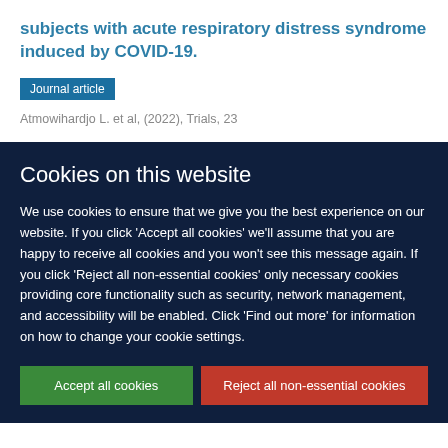subjects with acute respiratory distress syndrome induced by COVID-19.
Journal article
Atmowihardjo L. et al, (2022), Trials, 23
Cookies on this website
We use cookies to ensure that we give you the best experience on our website. If you click 'Accept all cookies' we'll assume that you are happy to receive all cookies and you won't see this message again. If you click 'Reject all non-essential cookies' only necessary cookies providing core functionality such as security, network management, and accessibility will be enabled. Click 'Find out more' for information on how to change your cookie settings.
Accept all cookies
Reject all non-essential cookies